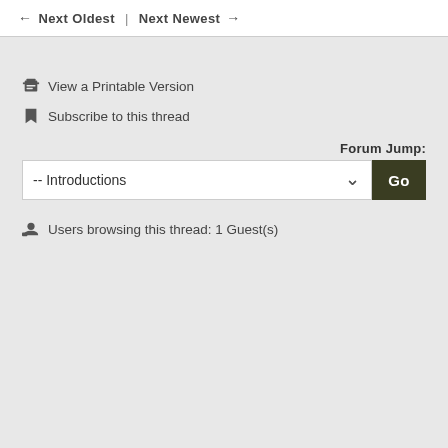← Next Oldest  |  Next Newest →
View a Printable Version
Subscribe to this thread
Forum Jump:
-- Introductions
Go
Users browsing this thread: 1 Guest(s)